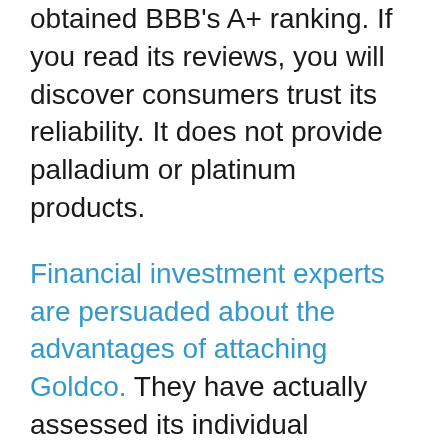obtained BBB's A+ ranking. If you read its reviews, you will discover consumers trust its reliability. It does not provide palladium or platinum products.
Financial investment experts are persuaded about the advantages of attaching Goldco. They have actually assessed its individual retirement account investment items and advise it extremely to individuals intrigued in including rare-earth element individual retirement account to their financial investment profile. It has actually consistently obtained high scores from BBB and also BCA. This excellent reputation has been made by offering trusted services to its customers. You can purchase from it recognizing well you will certainly get